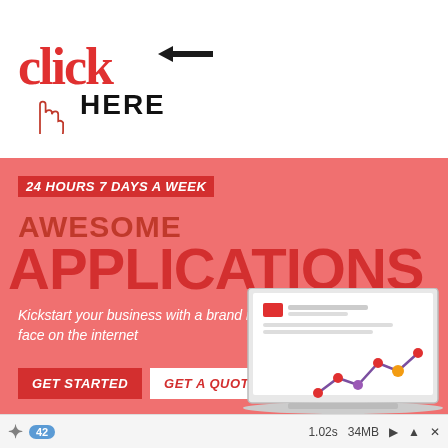[Figure (logo): Click Here logo — 'click' in red serif font with a left arrow, 'HERE' in bold black sans-serif, with a red hand/cursor icon below]
[Figure (infographic): Salmon/coral red banner containing text '24 HOURS 7 DAYS A WEEK', 'AWESOME', 'APPLICATIONS', italic tagline, two call-to-action buttons, and a laptop screen graphic with analytics chart illustration]
🔀  42   1.02s  34MB  ▶  ▲  ✕